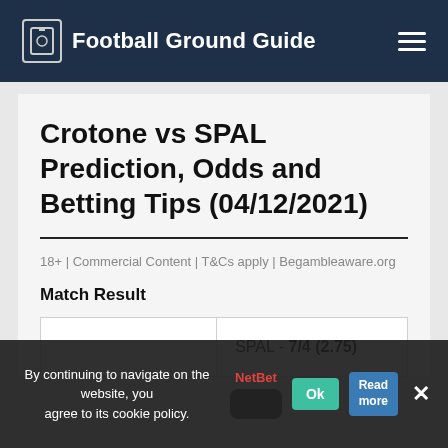Football Ground Guide
Crotone vs SPAL Prediction, Odds and Betting Tips (04/12/2021)
18+ | Commercial Content | T&Cs apply | Begambleaware.org
Match Result
|  |  |
| --- | --- |
|  | SPAL - 7/4 (2.75) |
By continuing to navigate on the website, you agree to its cookie policy.